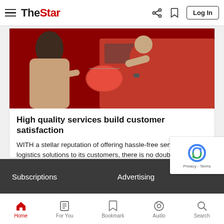The Star - navigation bar with logo, share, bookmark, and Log In
[Figure (photo): A delivery person in a red uniform handing a red package to a customer, with a red vehicle in the background.]
High quality services build customer satisfaction
WITH a stellar reputation of offering hassle-free services and logistics solutions to its customers, there is no doubt that Ninja Van Malaysia has become one of the country's most well-known...
Read More
Subscriptions   Advertising
Home   For You   Bookmark   Audio   Search